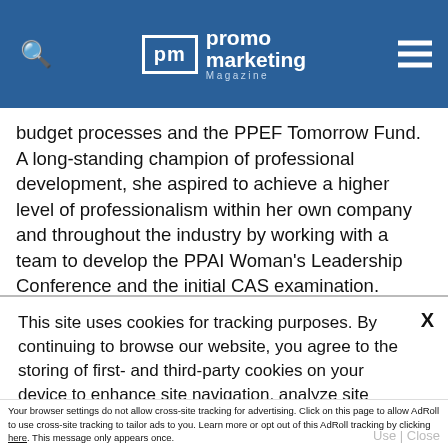promo marketing Magazine
budget processes and the PPEF Tomorrow Fund. A long-standing champion of professional development, she aspired to achieve a higher level of professionalism within her own company and throughout the industry by working with a team to develop the PPAI Woman's Leadership Conference and the initial CAS examination.
This site uses cookies for tracking purposes. By continuing to browse our website, you agree to the storing of first- and third-party cookies on your device to enhance site navigation, analyze site usage, and assist in our marketing and
Accept and Close ✕
Your browser settings do not allow cross-site tracking for advertising. Click on this page to allow AdRoll to use cross-site tracking to tailor ads to you. Learn more or opt out of this AdRoll tracking by clicking here. This message only appears once.